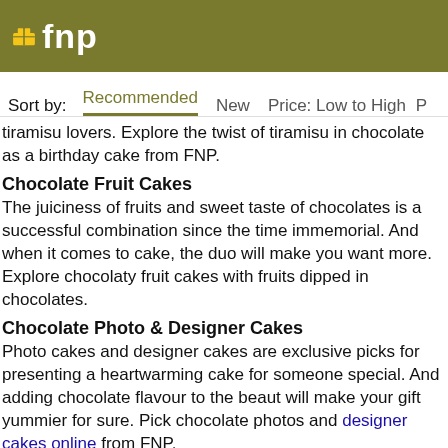fnp
Sort by:   Recommended   New   Price: Low to High   P…
tiramisu lovers. Explore the twist of tiramisu in chocolate as a birthday cake from FNP.
Chocolate Fruit Cakes
The juiciness of fruits and sweet taste of chocolates is a successful combination since the time immemorial. And when it comes to cake, the duo will make you want more. Explore chocolaty fruit cakes with fruits dipped in chocolates.
Chocolate Photo & Designer Cakes
Photo cakes and designer cakes are exclusive picks for presenting a heartwarming cake for someone special. And adding chocolate flavour to the beaut will make your gift yummier for sure. Pick chocolate photos and designer cakes online from FNP.
Send The Best Chocolate Cakes in Dubai & Across the UAE Using FNP